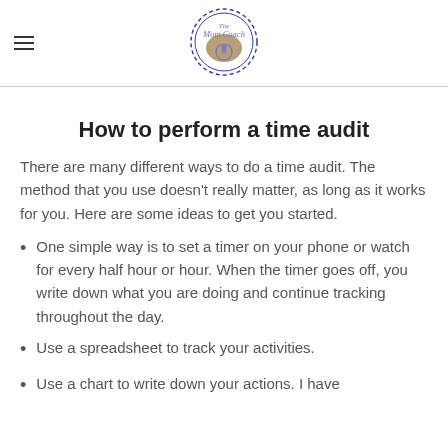The Mom Coach
How to perform a time audit
There are many different ways to do a time audit. The method that you use doesn't really matter, as long as it works for you. Here are some ideas to get you started.
One simple way is to set a timer on your phone or watch for every half hour or hour. When the timer goes off, you write down what you are doing and continue tracking throughout the day.
Use a spreadsheet to track your activities.
Use a chart to write down your actions. I have